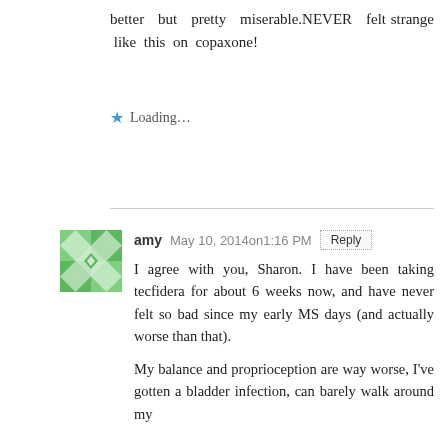better but pretty miserable.NEVER felt strange like this on copaxone!
Loading...
amy  May 10, 2014on1:16 PM
I agree with you, Sharon. I have been taking tecfidera for about 6 weeks now, and have never felt so bad since my early MS days (and actually worse than that).
My balance and proprioception are way worse, I've gotten a bladder infection, can barely walk around my